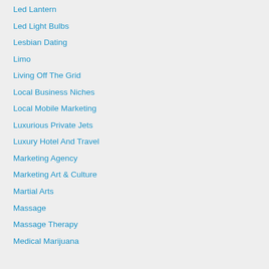Led Lantern
Led Light Bulbs
Lesbian Dating
Limo
Living Off The Grid
Local Business Niches
Local Mobile Marketing
Luxurious Private Jets
Luxury Hotel And Travel
Marketing Agency
Marketing Art & Culture
Martial Arts
Massage
Massage Therapy
Medical Marijuana